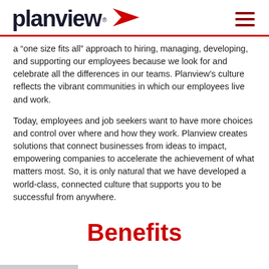planview® [logo with red arrow and hamburger menu]
a “one size fits all” approach to hiring, managing, developing, and supporting our employees because we look for and celebrate all the differences in our teams. Planview’s culture reflects the vibrant communities in which our employees live and work.
Today, employees and job seekers want to have more choices and control over where and how they work. Planview creates solutions that connect businesses from ideas to impact, empowering companies to accelerate the achievement of what matters most. So, it is only natural that we have developed a world-class, connected culture that supports you to be successful from anywhere.
Benefits